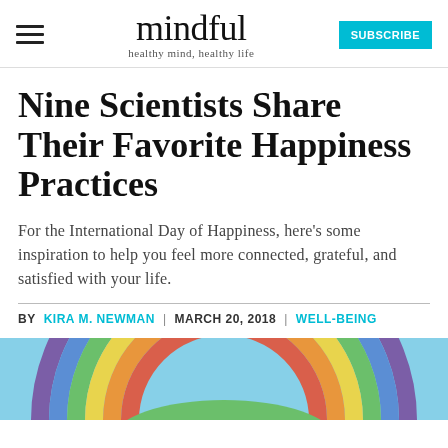mindful — healthy mind, healthy life — SUBSCRIBE
Nine Scientists Share Their Favorite Happiness Practices
For the International Day of Happiness, here's some inspiration to help you feel more connected, grateful, and satisfied with your life.
BY KIRA M. NEWMAN | MARCH 20, 2018 | WELL-BEING
[Figure (illustration): Colorful illustration of a rainbow with a green hill at the bottom, against a light blue background]